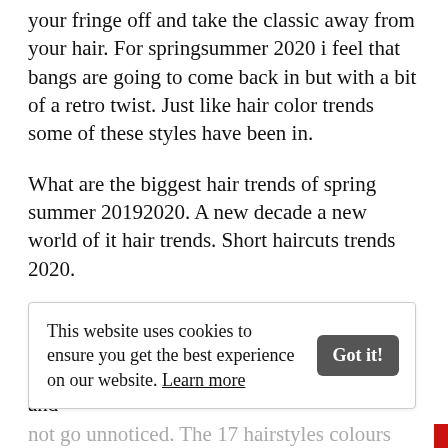your fringe off and take the classic away from your hair. For springsummer 2020 i feel that bangs are going to come back in but with a bit of a retro twist. Just like hair color trends some of these styles have been in.
What are the biggest hair trends of spring summer 20192020. A new decade a new world of it hair trends. Short haircuts trends 2020.
Well also see them paired with choppy square layers. What do the big names in the sector prescribe for hair color 2020reds with streaks and
This website uses cookies to ensure you get the best experience on our website. Learn more
not go unnoticed. The 17 hairstyles colours and